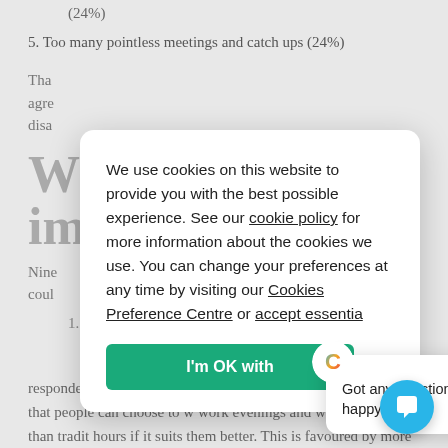(24%)
5. Too many pointless meetings and catch ups (24%)
Tha agre disa
W im
Nine coul
1.
respondents, is to offer more flexibility around working hours, so that people can choose to w work evenings and weekends rather than tradit hours if it suits them better. This is favoured by more
[Figure (screenshot): Cookie consent modal popup with text: 'We use cookies on this website to provide you with the best possible experience. See our cookie policy for more information about the cookies we use. You can change your preferences at any time by visiting our Cookies Preference Centre or accept essentia...' and a green button 'I'm OK with']
[Figure (screenshot): Chat popup widget with Crisp logo, close button, and text 'Got any questions? We're happy to help.' with a blue chat bubble button in the corner]